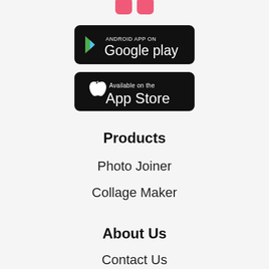[Figure (logo): App logo - two pink rounded rectangle shapes side by side, partially cropped at top]
[Figure (screenshot): Google Play Store badge - black rounded rectangle with Google Play triangle logo and text 'ANDROID APP ON Google play']
[Figure (screenshot): Apple App Store badge - black rounded rectangle with Apple logo and text 'Available on the App Store']
Products
Photo Joiner
Collage Maker
About Us
Contact Us